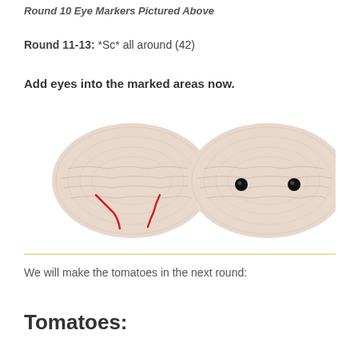Round 10 Eye Markers Pictured Above
Round 11-13: *Sc* all around (42)
Add eyes into the marked areas now.
[Figure (photo): Two crocheted oval shapes (amigurumi buns) side by side. The left one has red yarn markers indicating eye placement positions. The right one has black safety eyes already inserted.]
We will make the tomatoes in the next round:
Tomatoes: